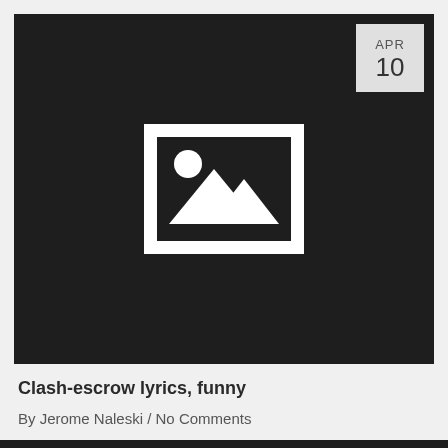[Figure (photo): Dark placeholder image with a white image icon (mountains and sun) in the center, and a date badge showing APR 10 in the top right corner]
Clash-escrow lyrics, funny
By Jerome Naleski / No Comments